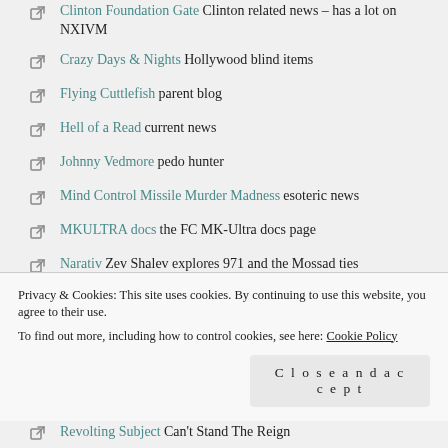Clinton Foundation Gate Clinton related news – has a lot on NXIVM
Crazy Days & Nights Hollywood blind items
Flying Cuttlefish parent blog
Hell of a Read current news
Johnny Vedmore pedo hunter
Mind Control Missile Murder Madness esoteric news
MKULTRA docs the FC MK-Ultra docs page
Narativ Zev Shalev explores 971 and the Mossad ties
NY POST reporting All Epstein coverage
Occult Hillary book
Privacy & Cookies: This site uses cookies. By continuing to use this website, you agree to their use. To find out more, including how to control cookies, see here: Cookie Policy
Revolting Subject Can't Stand The Reign